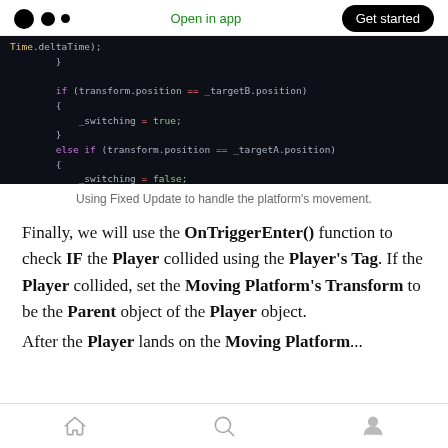Open in app | Get started
[Figure (screenshot): Dark-themed code editor showing C# Unity code with FixedUpdate function handling platform movement, including if/else checks on transform.position and _switching variable assignments.]
Using Fixed Update to handle the platform's movement.
Finally, we will use the OnTriggerEnter() function to check IF the Player collided using the Player's Tag. If the Player collided, set the Moving Platform's Transform to be the Parent object of the Player object.
After the Player lands on the Moving Platform...
Home | Search | Profile